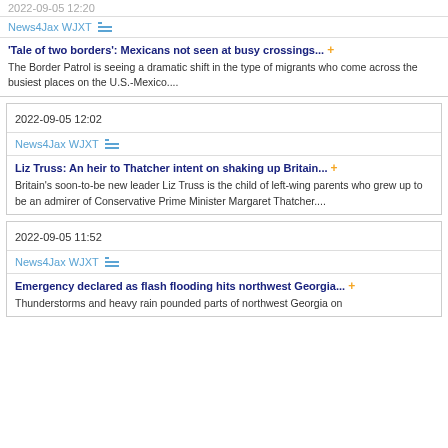2022-09-05 12:20
News4Jax WJXT
'Tale of two borders': Mexicans not seen at busy crossings... + The Border Patrol is seeing a dramatic shift in the type of migrants who come across the busiest places on the U.S.-Mexico....
2022-09-05 12:02
News4Jax WJXT
Liz Truss: An heir to Thatcher intent on shaking up Britain... + Britain's soon-to-be new leader Liz Truss is the child of left-wing parents who grew up to be an admirer of Conservative Prime Minister Margaret Thatcher....
2022-09-05 11:52
News4Jax WJXT
Emergency declared as flash flooding hits northwest Georgia... + Thunderstorms and heavy rain pounded parts of northwest Georgia on